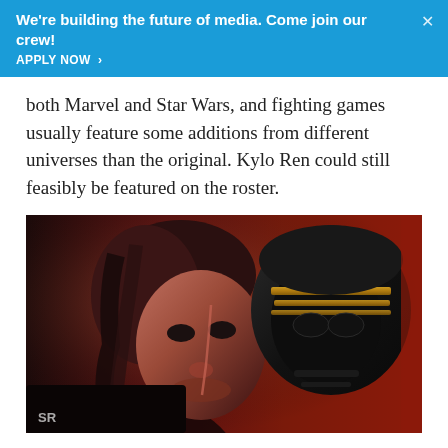We're building the future of media. Come join our crew! APPLY NOW ›
both Marvel and Star Wars, and fighting games usually feature some additions from different universes than the original. Kylo Ren could still feasibly be featured on the roster.
[Figure (photo): Artistic promotional image showing Kylo Ren unmasked (Ben Solo) on the left with a facial scar, and Kylo Ren's helmet on the right with gold accents, against a red background. Watermark 'SR' visible in lower left.]
Regarding the omissions, fighting games that are not called Super Smash Brothers usually feature limited rosters, as large rosters tend to create balance issues,